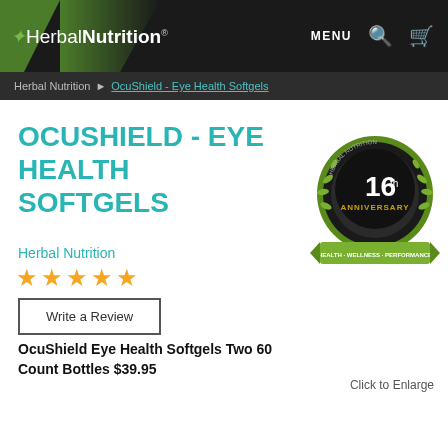Herbal Nutrition — MENU
Herbal Nutrition > OcuShield - Eye Health Softgels
OCUSHIELD - EYE HEALTH SOFTGELS
Herbal Nutrition
★★★★★
Write a Review
[Figure (logo): Herbal Nutrition 16th Anniversary badge — circular green and black medallion with laurel wreath and ribbon reading HEALTH WELLNESS PERFORMANCE]
OcuShield Eye Health Softgels Two 60 Count Bottles $39.95
Click to Enlarge